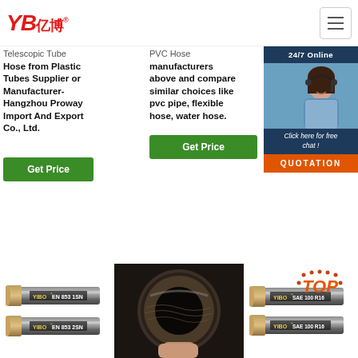[Figure (logo): YB亿博 company logo in red italic text]
Telescopic Tube Hose from Plastic Tubes Supplier or Manufacturer-Hangzhou Proway Import And Export Co., Ltd.
PVC Hose manufacturers above and compare similar choices like pvc pipe, flexible hose, water hose.
Garden
[Figure (infographic): 24/7 Online chat widget with agent photo, 'Click here for free chat!' text, and QUOTATION button]
[Figure (illustration): Get Price green button for left column]
[Figure (illustration): Get Price green button for middle column]
[Figure (photo): Close-up photo of a hydraulic hose end]
[Figure (photo): YIBO EN 853 1SN hydraulic hose]
[Figure (photo): YIBO EN 853 2SN hydraulic hose]
[Figure (photo): YIBO SAE 100 R16 hydraulic hose with TOP badge]
[Figure (photo): YIBO SAE 100 R16 hydraulic hose second]